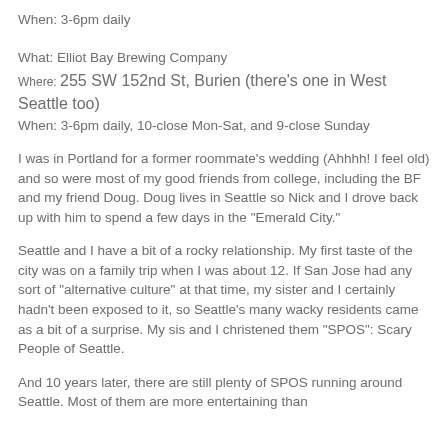When: 3-6pm daily
What: Elliot Bay Brewing Company
Where: 255 SW 152nd St, Burien (there's one in West Seattle too)
When: 3-6pm daily, 10-close Mon-Sat, and 9-close Sunday
I was in Portland for a former roommate's wedding (Ahhhh! I feel old) and so were most of my good friends from college, including the BF and my friend Doug. Doug lives in Seattle so Nick and I drove back up with him to spend a few days in the "Emerald City."
Seattle and I have a bit of a rocky relationship. My first taste of the city was on a family trip when I was about 12. If San Jose had any sort of "alternative culture" at that time, my sister and I certainly hadn't been exposed to it, so Seattle's many wacky residents came as a bit of a surprise. My sis and I christened them "SPOS": Scary People of Seattle.
And 10 years later, there are still plenty of SPOS running around Seattle. Most of them are more entertaining than